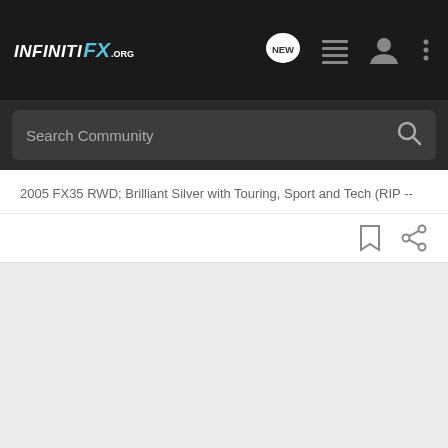INFINITI FX.ORG
Search Community
2005 FX35 RWD; Brilliant Silver with Touring, Sport and Tech (RIP --